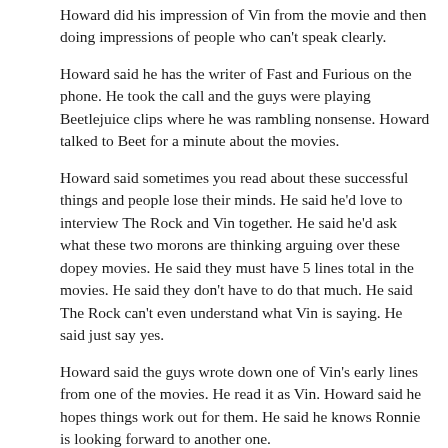Howard did his impression of Vin from the movie and then doing impressions of people who can't speak clearly.
Howard said he has the writer of Fast and Furious on the phone. He took the call and the guys were playing Beetlejuice clips where he was rambling nonsense. Howard talked to Beet for a minute about the movies.
Howard said sometimes you read about these successful things and people lose their minds. He said he'd love to interview The Rock and Vin together. He said he'd ask what these two morons are thinking arguing over these dopey movies. He said they must have 5 lines total in the movies. He said they don't have to do that much. He said The Rock can't even understand what Vin is saying. He said just say yes.
Howard said the guys wrote down one of Vin's early lines from one of the movies. He read it as Vin. Howard said he hopes things work out for them. He said he knows Ronnie is looking forward to another one.
Cameo Lays Off Employees. 05/11/22. 8:00am Howard said Cameo isn't doing well. He said they laid off a good portion of the staff during an all hands on deck meeting. He said it was 25 percent of the employees and...